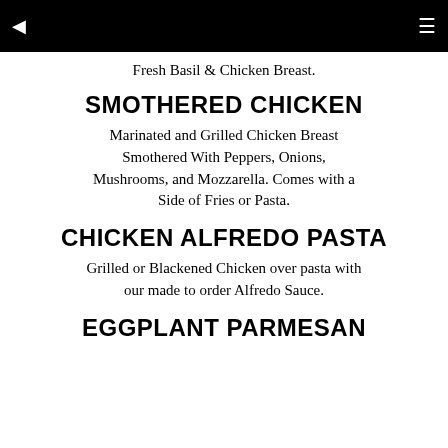◄  ≡
Fresh Basil & Chicken Breast.
SMOTHERED CHICKEN
Marinated and Grilled Chicken Breast Smothered With Peppers, Onions, Mushrooms, and Mozzarella. Comes with a Side of Fries or Pasta.
CHICKEN ALFREDO PASTA
Grilled or Blackened Chicken over pasta with our made to order Alfredo Sauce.
EGGPLANT PARMESAN